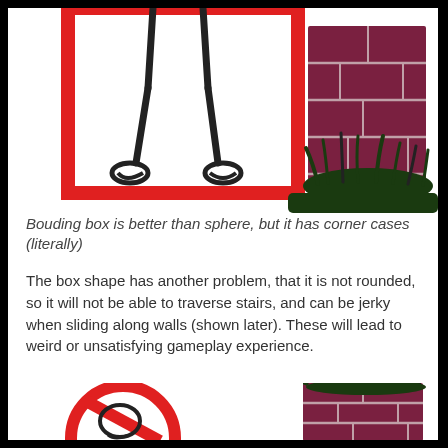[Figure (illustration): Top illustration showing two character legs inside a red bounding box on the left, and a dark red/maroon stone wall with dark grass/weeds on the right. Demonstrates a bounding box collision scenario.]
Bouding box is better than sphere, but it has corner cases (literally)
The box shape has another problem, that it is not rounded, so it will not be able to traverse stairs, and can be jerky when sliding along walls (shown later). These will lead to weird or unsatisfying gameplay experience.
[Figure (illustration): Bottom illustration showing a red prohibition circle (no symbol) on the left with character legs/body inside, and a dark red stone wall with dark grass/weeds on the right. Demonstrates the box shape problem with traversal.]